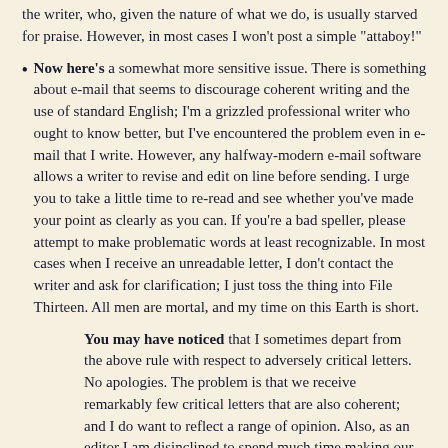the writer, who, given the nature of what we do, is usually starved for praise. However, in most cases I won't post a simple "attaboy!"
Now here's a somewhat more sensitive issue. There is something about e-mail that seems to discourage coherent writing and the use of standard English; I'm a grizzled professional writer who ought to know better, but I've encountered the problem even in e-mail that I write. However, any halfway-modern e-mail software allows a writer to revise and edit on line before sending. I urge you to take a little time to re-read and see whether you've made your point as clearly as you can. If you're a bad speller, please attempt to make problematic words at least recognizable. In most cases when I receive an unreadable letter, I don't contact the writer and ask for clarification; I just toss the thing into File Thirteen. All men are mortal, and my time on this Earth is short.
You may have noticed that I sometimes depart from the above rule with respect to adversely critical letters. No apologies. The problem is that we receive remarkably few critical letters that are also coherent; and I do want to reflect a range of opinion. Also, as an editor I am disinclined to spend much time making our adversaries look more literate or less hysterical.
Mr. Henry Gallagher Fields has described one element of